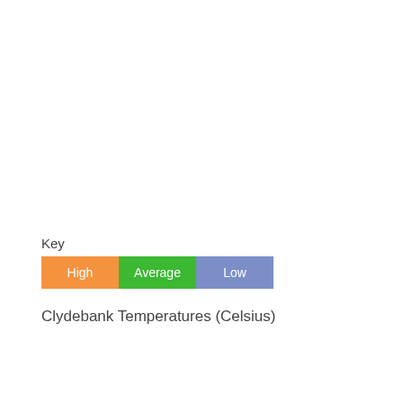[Figure (infographic): Legend key showing three colored boxes labeled High (orange), Average (green), and Low (blue) with title 'Key' and caption 'Clydebank Temperatures (Celsius)']
Clydebank Temperatures (Celsius)